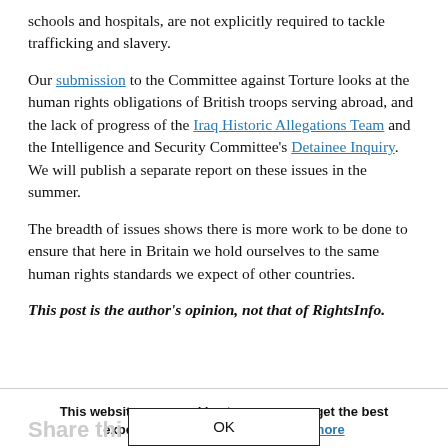schools and hospitals, are not explicitly required to tackle trafficking and slavery.
Our submission to the Committee against Torture looks at the human rights obligations of British troops serving abroad, and the lack of progress of the Iraq Historic Allegations Team and the Intelligence and Security Committee's Detainee Inquiry. We will publish a separate report on these issues in the summer.
The breadth of issues shows there is more work to be done to ensure that here in Britain we hold ourselves to the same human rights standards we expect of other countries.
This post is the author's opinion, not that of RightsInfo.
This website uses cookies to ensure you get the best experience on our website. Learn more
OK